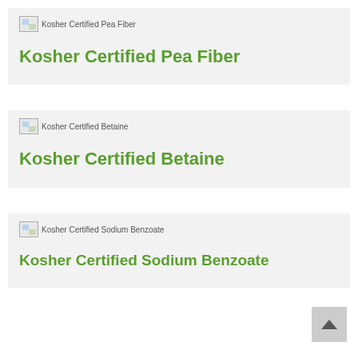[Figure (illustration): Broken image placeholder for Kosher Certified Pea Fiber]
Kosher Certified Pea Fiber
[Figure (illustration): Broken image placeholder for Kosher Certified Betaine]
Kosher Certified Betaine
[Figure (illustration): Broken image placeholder for Kosher Certified Sodium Benzoate]
Kosher Certified Sodium Benzoate